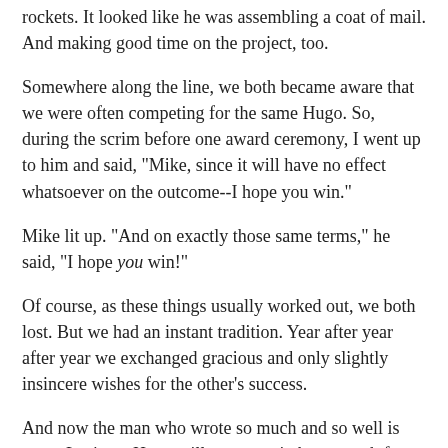rockets. It looked like he was assembling a coat of mail. And making good time on the project, too.
Somewhere along the line, we both became aware that we were often competing for the same Hugo. So, during the scrim before one award ceremony, I went up to him and said, "Mike, since it will have no effect whatsoever on the outcome--I hope you win."
Mike lit up. "And on exactly those same terms," he said, "I hope you win!"
Of course, as these things usually worked out, we both lost. But we had an instant tradition. Year after year after year we exchanged gracious and only slightly insincere wishes for the other's success.
And now the man who wrote so much and so well is gone. Losing a Hugo will never again be as much fun as it used to be.
And if you want to do his memory a favor,